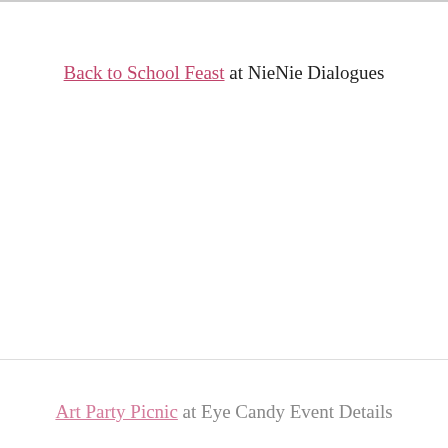Back to School Feast at NieNie Dialogues
Art Party Picnic at Eye Candy Event Details